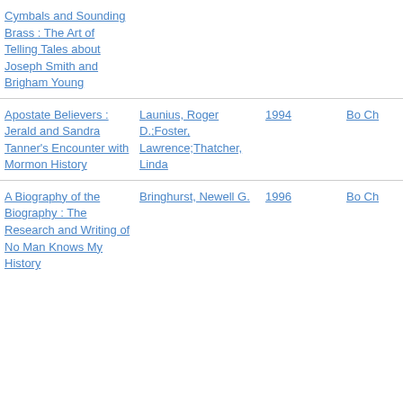| Title | Author | Year | Type |
| --- | --- | --- | --- |
| Cymbals and Sounding Brass : The Art of Telling Tales about Joseph Smith and Brigham Young |  |  |  |
| Apostate Believers : Jerald and Sandra Tanner's Encounter with Mormon History | Launius, Roger D.;Foster, Lawrence;Thatcher, Linda | 1994 | Bo Ch |
| A Biography of the Biography : The Research and Writing of No Man Knows My History | Bringhurst, Newell G. | 1996 | Bo Ch |